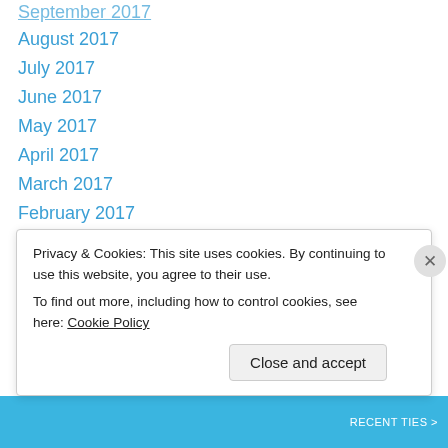September 2017
August 2017
July 2017
June 2017
May 2017
April 2017
March 2017
February 2017
January 2017
December 2016
November 2016
October 2016
September 2016
August 2016
Privacy & Cookies: This site uses cookies. By continuing to use this website, you agree to their use.
To find out more, including how to control cookies, see here: Cookie Policy